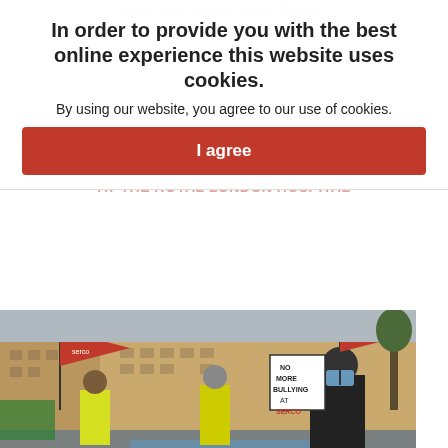them rally. reports Yonas Makoni.
In order to provide you with the best online experience this website uses cookies.
By using our website, you agree to our use of cookies.
I agree
SERCO STRIKERS SERVE UP A STORM
AT THE ROYAL LONDON HOSPITAL
[Figure (photo): Protest scene outside the Royal London Hospital. Workers in yellow hi-vis vests hold red union flags. A man in a black jacket and blue face mask stands in the foreground. A sign reads 'No More Bullying at Serco'. The background shows a London street with buildings.]
Catering workers at the Royal London Hospital are standing together against Serco, reports Jamal Elaheebocus from the picket line